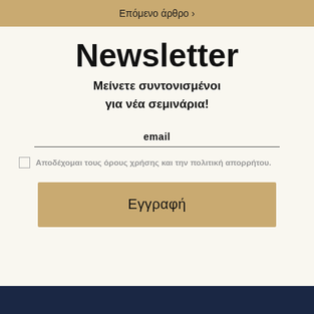Επόμενο άρθρο ›
Newsletter
Μείνετε συντονισμένοι για νέα σεμινάρια!
email
Αποδέχομαι τους όρους χρήσης και την πολιτική απορρήτου.
Εγγραφή